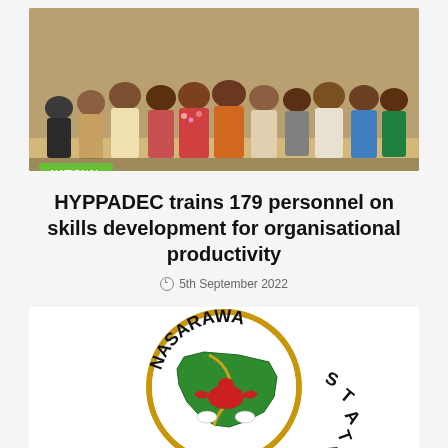[Figure (photo): Group photo of approximately 15-20 people standing together in a room, with a green 'NATIONAL' badge overlay in the lower left corner]
HYPPADEC trains 179 personnel on skills development for organisational productivity
5th September 2022
[Figure (photo): Nasarawa State government seal/logo showing text 'NASARAWA STATE' around a circular emblem with a green map of Nasarawa state and a Nigerian eagle in red]